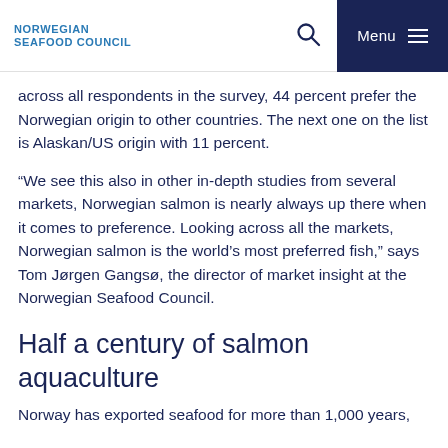NORWEGIAN SEAFOOD COUNCIL
across all respondents in the survey, 44 percent prefer the Norwegian origin to other countries. The next one on the list is Alaskan/US origin with 11 percent.
“We see this also in other in-depth studies from several markets, Norwegian salmon is nearly always up there when it comes to preference. Looking across all the markets, Norwegian salmon is the world’s most preferred fish,” says Tom Jørgen Gangsø, the director of market insight at the Norwegian Seafood Council.
Half a century of salmon aquaculture
Norway has exported seafood for more than 1,000 years,